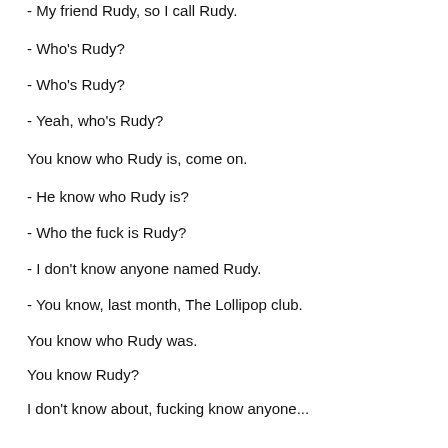- My friend Rudy, so I call Rudy.
- Who's Rudy?
- Who's Rudy?
- Yeah, who's Rudy?
You know who Rudy is, come on.
- He know who Rudy is?
- Who the fuck is Rudy?
- I don't know anyone named Rudy.
- You know, last month, The Lollipop club.
You know who Rudy was.
You know Rudy?
I don't know about, fucking know anyone...
What do you mean?
- So he went to The Lollipop club?
- Oh, he was at The Lollipop club for sure.